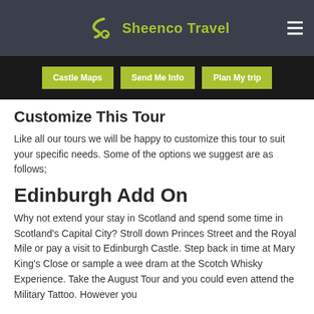Sheenco Travel
[Figure (logo): Sheenco Travel logo with green S-shaped chain icon and brand name]
Castle Maps
Send Me Info
Plan My trip
Customize This Tour
Like all our tours we will be happy to customize this tour to suit your specific needs. Some of the options we suggest are as follows;
Edinburgh Add On
Why not extend your stay in Scotland and spend some time in Scotland's Capital City? Stroll down Princes Street and the Royal Mile or pay a visit to Edinburgh Castle. Step back in time at Mary King's Close or sample a wee dram at the Scotch Whisky Experience. Take the August Tour and you could even attend the Military Tattoo. However you